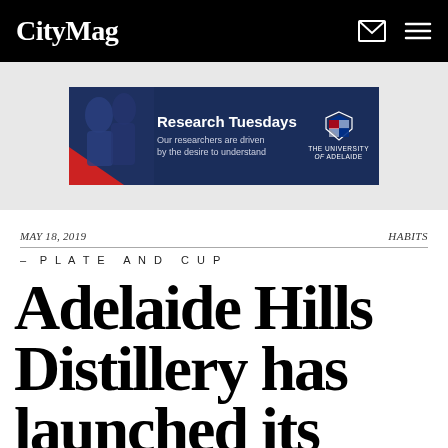CityMag
[Figure (infographic): University of Adelaide Research Tuesdays advertisement banner. Dark blue background with red accent on left side, showing text 'Research Tuesdays – Our researchers are driven by the desire to understand' and University of Adelaide shield logo]
MAY 18, 2019 | HABITS
– PLATE AND CUP
Adelaide Hills Distillery has launched its